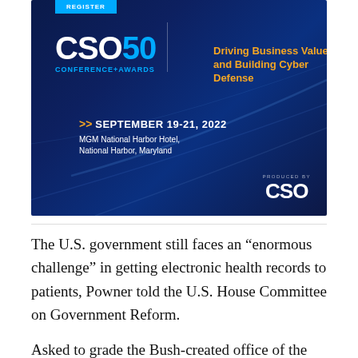[Figure (illustration): CSO50 Conference+Awards advertisement banner. Dark blue gradient background. Shows 'CSO50 CONFERENCE+AWARDS' logo with tagline 'Driving Business Value and Building Cyber Defense' in orange. Date: September 19-21, 2022. Venue: MGM National Harbor Hotel, National Harbor, Maryland. Produced by CSO. Register button at top in cyan.]
The U.S. government still faces an "enormous challenge" in getting electronic health records to patients, Powner told the U.S. House Committee on Government Reform.
Asked to grade the Bush-created office of the National Coordinator for Health Information